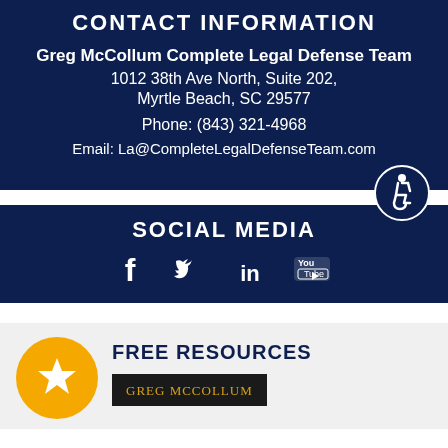CONTACT INFORMATION
Greg McCollum Complete Legal Defense Team
1012 38th Ave North, Suite 202,
Myrtle Beach, SC 29577
Phone: (843) 321-4968
Email: La@CompleteLegalDefenseTeam.com
[Figure (illustration): Accessibility icon — blue circle with white wheelchair-user symbol]
SOCIAL MEDIA
[Figure (infographic): Social media icons: Facebook, Twitter, LinkedIn, YouTube]
FREE RESOURCES
[Figure (illustration): Gold star icon in yellow/orange circle]
[Figure (illustration): Book cover with dark background and gold text reading GREG McCOLLUM]